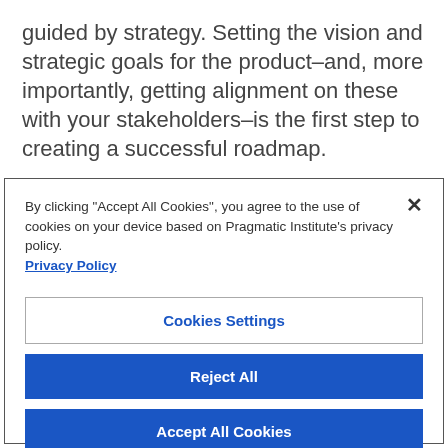guided by strategy. Setting the vision and strategic goals for the product–and, more importantly, getting alignment on these with your stakeholders–is the first step to creating a successful roadmap.
Jim Semick is founder and chief strategist at ProductPlan, the leading provider of product roadmap software for product and marketing teams. For more
By clicking "Accept All Cookies", you agree to the use of cookies on your device based on Pragmatic Institute's privacy policy. Privacy Policy
Cookies Settings
Reject All
Accept All Cookies